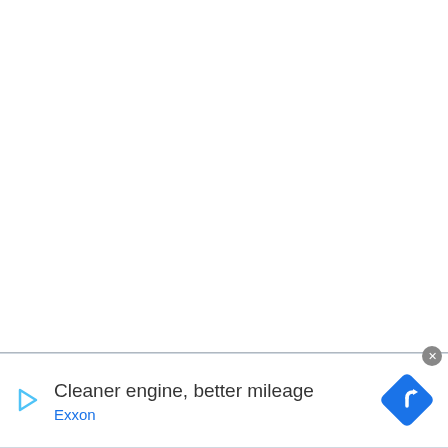[Figure (other): White blank area filling upper portion of page]
[Figure (infographic): Advertisement banner: play button icon on left, text 'Cleaner engine, better mileage' with 'Exxon' brand in blue below, navigation/map diamond icon on right. Close button (X) in gray circle at top-right corner of ad.]